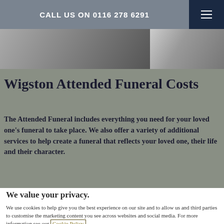CALL US ON 0116 278 6291
[Figure (photo): Hero image showing two sections of a grayscale/dark photo]
Wigston Attended Funeral Costs
The Attended Funeral includes everything you need for your loved one's funeral to take place. We also offer a variety of additional services to help create a funeral that reflects your loved one, their life and their character.
We value your privacy.
We use cookies to help give you the best experience on our site and to allow us and third parties to customise the marketing content you see across websites and social media. For more information see our Cookie Policy